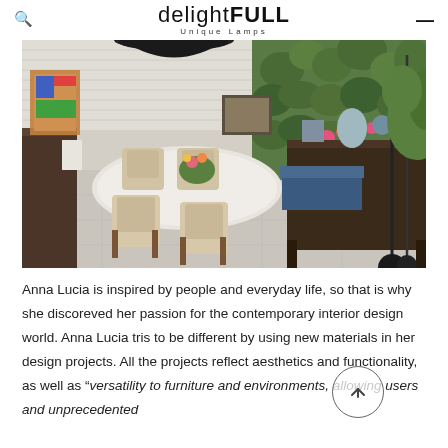delightFULL Unique Lamps
[Figure (photo): Interior design photo showing a modern dining area with wooden chairs around a white oval table, a hanging black pendant lamp, colorful artwork on the wall, indoor plants and flowers, and a dark wood console table on the right side with floor lamps and more plants in a bright room with venetian blinds.]
Anna Lucia is inspired by people and everyday life, so that is why she discoreved her passion for the contemporary interior design world. Anna Lucia tris to be different by using new materials in her design projects. All the projects reflect aesthetics and functionality, as well as “versatility to furniture and environments, allowing users and unprecedented